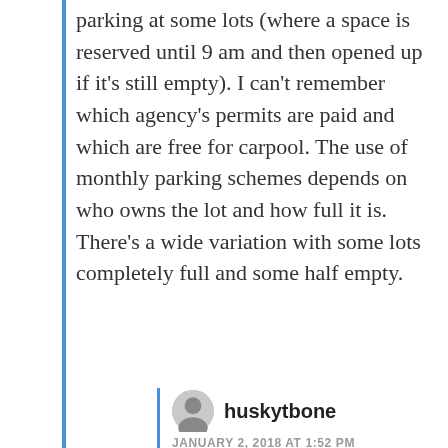parking at some lots (where a space is reserved until 9 am and then opened up if it's still empty). I can't remember which agency's permits are paid and which are free for carpool. The use of monthly parking schemes depends on who owns the lot and how full it is. There's a wide variation with some lots completely full and some half empty.
huskytbone
JANUARY 2, 2018 AT 1:52 PM
Mike, I hear ya. My comment was more a criticism of this editorial board for not being more creative, and instead